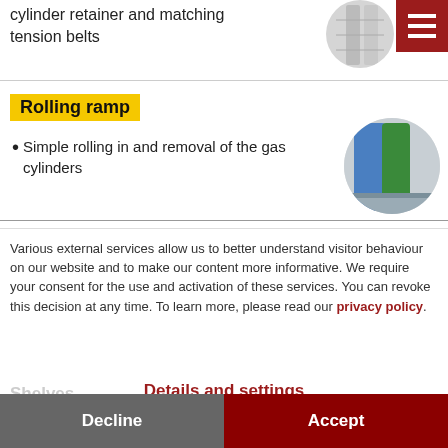cylinder retainer and matching tension belts
[Figure (photo): Partial circular image of metal cylinders/cabinet detail, cropped at top right]
[Figure (other): Red hamburger menu icon button]
Rolling ramp
[Figure (photo): Circular image showing blue and green gas cylinders on a rolling ramp in a cabinet]
Simple rolling in and removal of the gas cylinders
Various external services allow us to better understand visitor behaviour on our website and to make our content more informative. We require your consent for the use and activation of these services. You can revoke this decision at any time. To learn more, please read our privacy policy.
Shelves
Details and settings
Decline
Accept